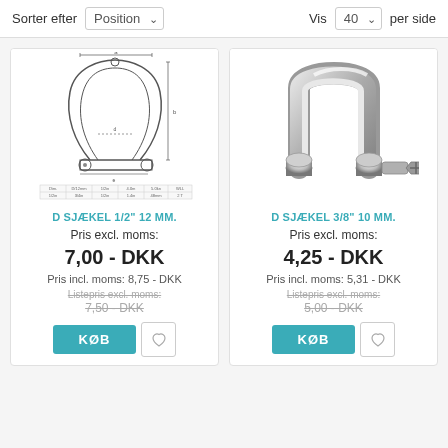Sorter efter  Position  Vis  40  per side
[Figure (schematic): Technical line drawing of a bow/omega shackle (D-sjækel 1/2" 12 MM) with dimension annotations and a small data table below]
[Figure (photo): Photo of a stainless steel D-shackle (D-sjækel 3/8" 10 MM) with screw pin]
D SJÆKEL 1/2" 12 MM.
Pris excl. moms:
7,00 - DKK
Pris incl. moms: 8,75 - DKK
Listepris excl. moms:
7,50 - DKK
D SJÆKEL 3/8" 10 MM.
Pris excl. moms:
4,25 - DKK
Pris incl. moms: 5,31 - DKK
Listepris excl. moms:
5,00 - DKK
KØB
KØB